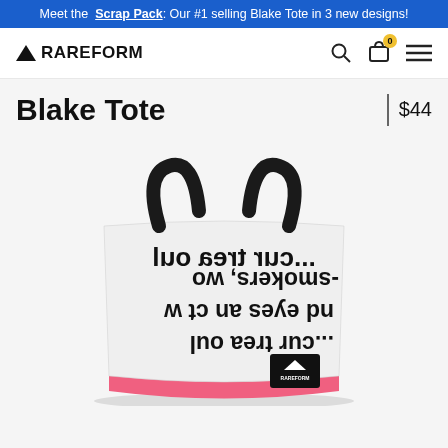Meet the Scrap Pack: Our #1 selling Blake Tote in 3 new designs!
[Figure (logo): RAREFORM logo with triangle icon]
Blake Tote
$44
[Figure (photo): Blake Tote bag made from recycled billboard material, white with black text print and pink bottom stripe, black handles, with RAREFORM logo patch]